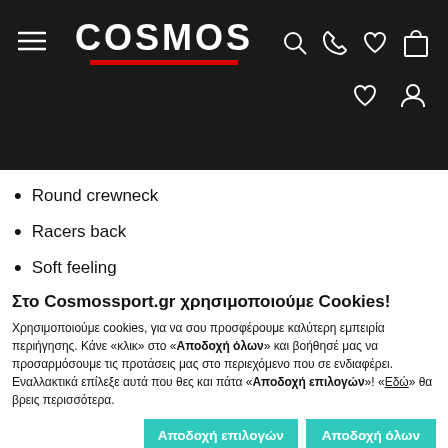COSMOS (navigation header with hamburger menu, logo, search, phone, heart, bag icons)
Round crewneck
Racers back
Soft feeling
Στο Cosmossport.gr χρησιμοποιούμε Cookies!
Χρησιμοποιούμε cookies, για να σου προσφέρουμε καλύτερη εμπειρία περιήγησης. Κάνε «κλικ» στο «Αποδοχή όλων» και βοήθησέ μας να προσαρμόσουμε τις προτάσεις μας στο περιεχόμενο που σε ενδιαφέρει. Εναλλακτικά επίλεξε αυτά που θες και πάτα «Αποδοχή επιλογών»! «Εδώ» θα βρεις περισσότερα.
| Αναγκαία | Προτιμήσεις | Στατιστικά | Εμπορικής προώθησης | Προβολή λεπτομερειών |
| --- | --- | --- | --- | --- |
| checked | unchecked | unchecked | unchecked |  |